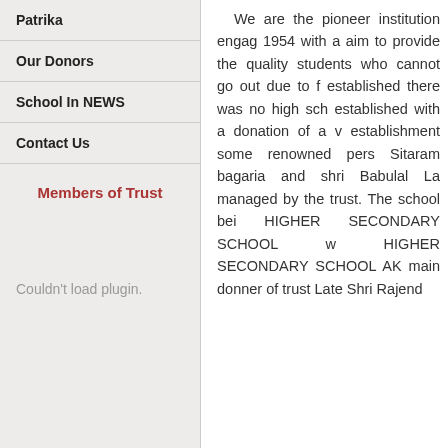Patrika
Our Donors
School In NEWS
Contact Us
Members of Trust
Couldn't load plugin.
We are the pioneer institution engag... 1954 with a aim to provide the quality students who cannot go out due to f established there was no high sch established with a donation of a v establishment some renowned pers Sitaram bagaria and shri Babulal La managed by the trust. The school bei HIGHER SECONDARY SCHOOL w HIGHER SECONDARY SCHOOL AK main donner of trust Late Shri Rajend